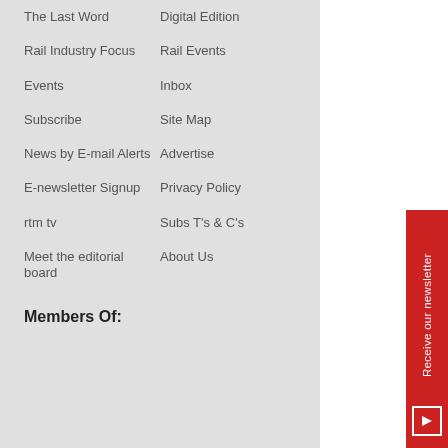The Last Word
Digital Edition
Rail Industry Focus
Rail Events
Events
Inbox
Subscribe
Site Map
News by E-mail Alerts
Advertise
E-newsletter Signup
Privacy Policy
rtm tv
Subs T's & C's
Meet the editorial board
About Us
Members Of:
Receive our newsletter